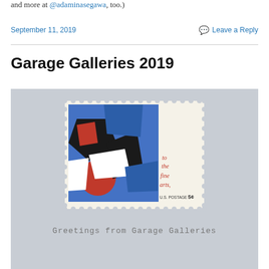and more at @adaminasegawa, too.)
September 11, 2019
Leave a Reply
Garage Galleries 2019
[Figure (photo): A vintage U.S. postage stamp (5 cents, 'to the fine arts') featuring an abstract colorful artwork in blue, red, black and white, placed on a light gray background. Below the stamp reads: Greetings from Garage Galleries]